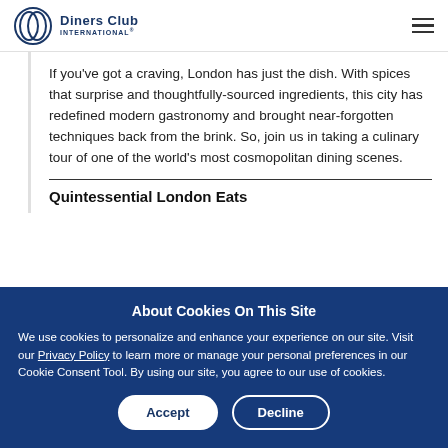Diners Club International
If you've got a craving, London has just the dish. With spices that surprise and thoughtfully-sourced ingredients, this city has redefined modern gastronomy and brought near-forgotten techniques back from the brink. So, join us in taking a culinary tour of one of the world's most cosmopolitan dining scenes.
Quintessential London Eats
About Cookies On This Site
We use cookies to personalize and enhance your experience on our site. Visit our Privacy Policy to learn more or manage your personal preferences in our Cookie Consent Tool. By using our site, you agree to our use of cookies.